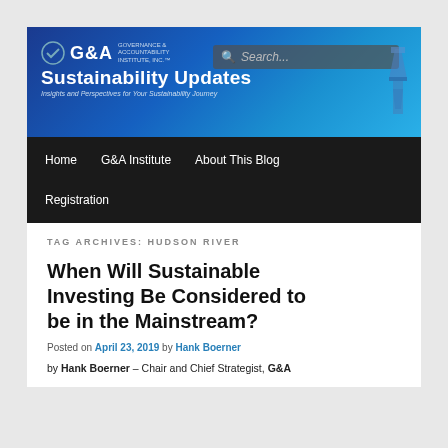[Figure (screenshot): G&A Institute Sustainability Updates blog header banner with blue gradient background, G&A logo, site title 'Sustainability Updates', tagline, search box, and lighthouse graphic]
G&A Sustainability Updates — Home | G&A Institute | About This Blog | Registration
TAG ARCHIVES: HUDSON RIVER
When Will Sustainable Investing Be Considered to be in the Mainstream?
Posted on April 23, 2019 by Hank Boerner
by Hank Boerner – Chair and Chief Strategist, G&A